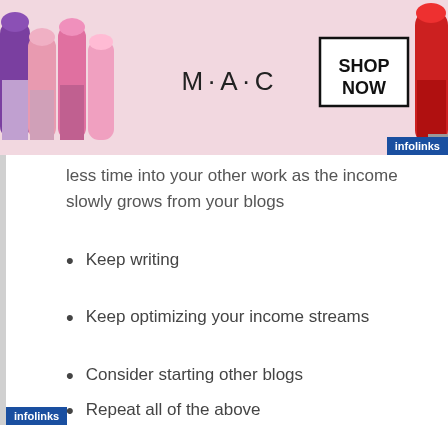[Figure (screenshot): MAC cosmetics advertisement banner showing lipsticks, MAC logo, and SHOP NOW button with infolinks badge]
less time into your other work as the income slowly grows from your blogs
Keep writing
Keep optimizing your income streams
Consider starting other blogs
Repeat all of the above
[Figure (screenshot): Victoria's Secret advertisement banner showing model, VS logo, SHOP THE COLLECTION text, and SHOP NOW button]